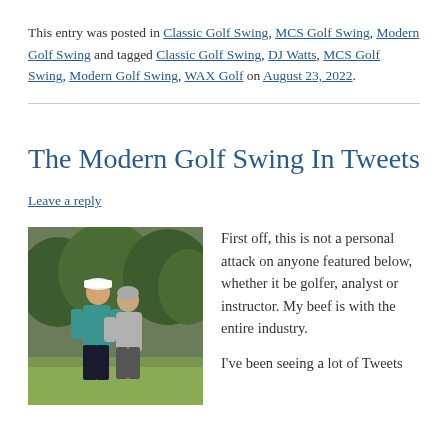This entry was posted in Classic Golf Swing, MCS Golf Swing, Modern Golf Swing and tagged Classic Golf Swing, DJ Watts, MCS Golf Swing, Modern Golf Swing, WAX Golf on August 23, 2022.
The Modern Golf Swing In Tweets
Leave a reply
[Figure (photo): Two golfers on a golf course, one in a white cap and teal shirt, the other in a grey shirt, appearing to demonstrate or discuss a golf swing technique. Trees visible in the background.]
First off, this is not a personal attack on anyone featured below, whether it be golfer, analyst or instructor. My beef is with the entire industry.
I've been seeing a lot of Tweets